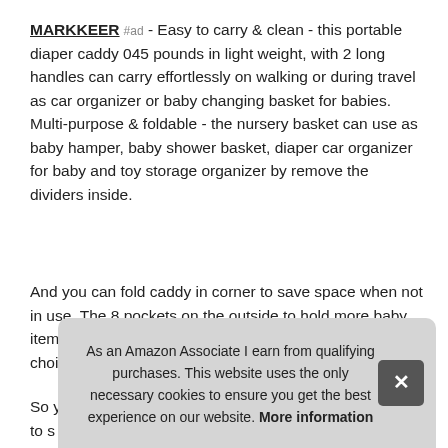MARKKEER #ad - Easy to carry & clean - this portable diaper caddy 045 pounds in light weight, with 2 long handles can carry effortlessly on walking or during travel as car organizer or baby changing basket for babies. Multi-purpose & foldable - the nursery basket can use as baby hamper, baby shower basket, diaper car organizer for baby and toy storage organizer by remove the dividers inside.
And you can fold caddy in corner to save space when not in use. The 8 pockets on the outside to hold more baby items. Choose markkeer baby diaper organizer is a safe choice for newborn babies.
So y... to s... girls. The felt fabric makes it easy to just wipe the surface to
As an Amazon Associate I earn from qualifying purchases. This website uses the only necessary cookies to ensure you get the best experience on our website. More information